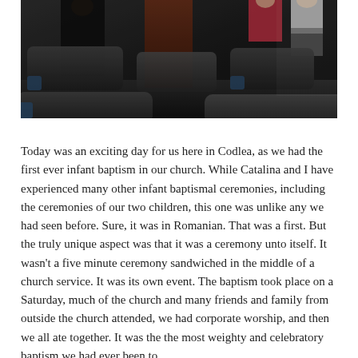[Figure (photo): Interior of a church with dark padded chairs in the foreground and people standing in the background. The setting is dimly lit with a reddish-brown wall or pillar visible in the center background. A person in a pink shirt and another in a white/light shirt are visible at the top right.]
Today was an exciting day for us here in Codlea, as we had the first ever infant baptism in our church. While Catalina and I have experienced many other infant baptismal ceremonies, including the ceremonies of our two children, this one was unlike any we had seen before. Sure, it was in Romanian. That was a first. But the truly unique aspect was that it was a ceremony unto itself. It wasn't a five minute ceremony sandwiched in the middle of a church service. It was its own event. The baptism took place on a Saturday, much of the church and many friends and family from outside the church attended, we had corporate worship, and then we all ate together. It was the the most weighty and celebratory baptism we had ever been to.